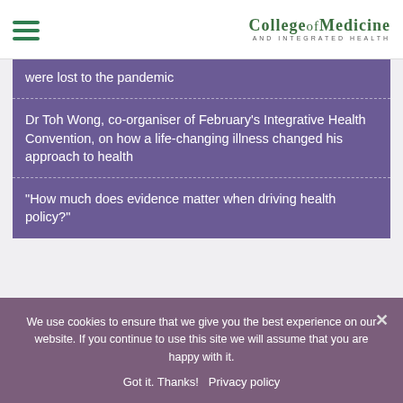College of Medicine and Integrated Health
were lost to the pandemic
Dr Toh Wong, co-organiser of February's Integrative Health Convention, on how a life-changing illness changed his approach to health
“How much does evidence matter when driving health policy?”
Select a Category
We use cookies to ensure that we give you the best experience on our website. If you continue to use this site we will assume that you are happy with it.
Got it. Thanks!   Privacy policy